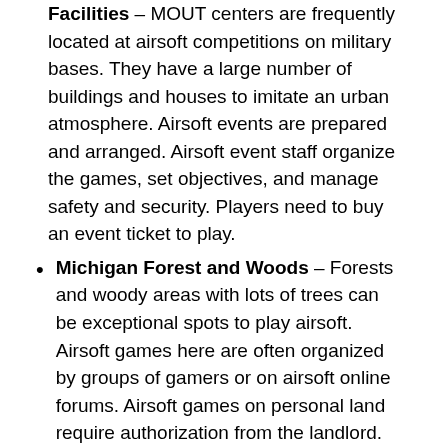Facilities – MOUT centers are frequently located at airsoft competitions on military bases. They have a large number of buildings and houses to imitate an urban atmosphere. Airsoft events are prepared and arranged. Airsoft event staff organize the games, set objectives, and manage safety and security. Players need to buy an event ticket to play.
Michigan Forest and Woods – Forests and woody areas with lots of trees can be exceptional spots to play airsoft. Airsoft games here are often organized by groups of gamers or on airsoft online forums. Airsoft games on personal land require authorization from the landlord. Public outdoor recreation areas like wilderness areas are usually totally free for anybody to play airsoft. At these